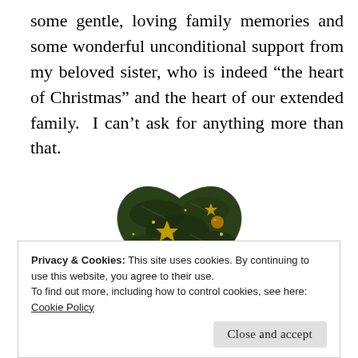some gentle, loving family memories and some wonderful unconditional support from my beloved sister, who is indeed “the heart of Christmas” and the heart of our extended family.  I can’t ask for anything more than that.
[Figure (illustration): A heart-shaped image filled with a Christmas tree scene showing gold stars, ornaments, and green pine branches with decorative lights]
Privacy & Cookies: This site uses cookies. By continuing to use this website, you agree to their use.
To find out more, including how to control cookies, see here:
Cookie Policy
Close and accept